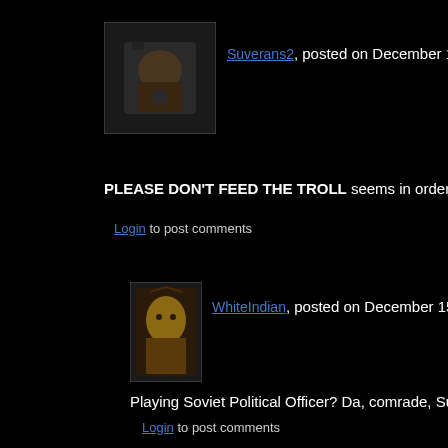[Figure (photo): User avatar for Suverans2, cartoon/illustration style character]
Suverans2, posted on December 15, 2011
PLEASE DON'T FEED THE TROLL seems in order here
Login to post comments
[Figure (photo): User avatar for WhiteIndian, portrait illustration of Native American figure]
WhiteIndian, posted on December 15, 2011
Playing Soviet Political Officer? Da, comrade, Suvera
Login to post comments
[Figure (photo): User avatar for Suverans2, cartoon/illustration style character]
Suverans2, posted on December 15, 2011
"...you're well part of it too, whether you want to be or not..." ~ Wh